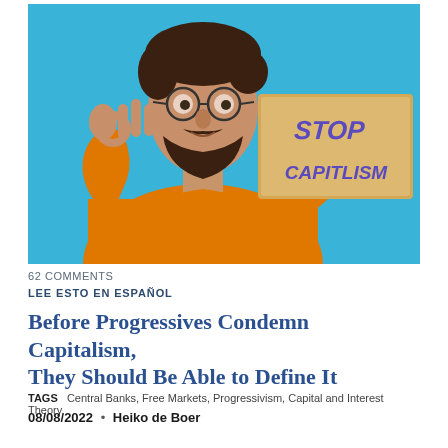[Figure (photo): A bearded man with glasses wearing an orange sweater, holding a cardboard sign reading 'STOP CAPITLISM' in purple letters, against a bright blue background. He is making an OK gesture with his other hand.]
62 COMMENTS
LEE ESTO EN ESPAÑOL
Before Progressives Condemn Capitalism, They Should Be Able to Define It
TAGS   Central Banks, Free Markets, Progressivism, Capital and Interest Theory
08/08/2022  •  Heiko de Boer